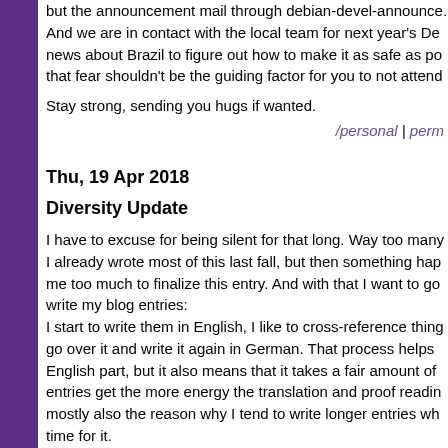but the announcement mail through debian-devel-announce. And we are in contact with the local team for next year's De... news about Brazil to figure out how to make it as safe as po... that fear shouldn't be the guiding factor for you to not attend
Stay strong, sending you hugs if wanted.
/personal | perm...
Thu, 19 Apr 2018
Diversity Update
I have to excuse for being silent for that long. Way too many I already wrote most of this last fall, but then something happ me too much to finalize this entry. And with that I want to go write my blog entries: I start to write them in English, I like to cross-reference thing go over it and write it again in German. That process helps English part, but it also means that it takes a fair amount of entries get the more energy the translation and proof reading mostly also the reason why I tend to write longer entries wh time for it.